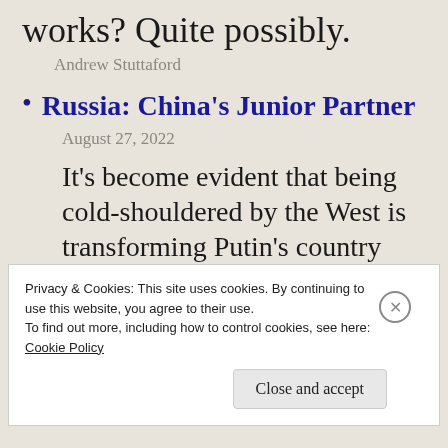works? Quite possibly.
Andrew Stuttaford
Russia: China's Junior Partner
August 27, 2022
It's become evident that being cold-shouldered by the West is transforming Putin's country into the junior half of the
Privacy & Cookies: This site uses cookies. By continuing to use this website, you agree to their use.
To find out more, including how to control cookies, see here: Cookie Policy
Close and accept